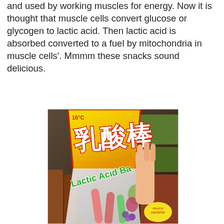and used by working muscles for energy. Now it is thought that muscle cells convert glucose or glycogen to lactic acid. Then lactic acid is absorbed converted to a fuel by mitochondria in muscle cells'. Mmmm these snacks sound delicious.
[Figure (photo): Photo of a package of 'Lactic Acid Ba' (乳酸棒) candy/snacks held in someone's hand, shown in a store/shop setting with shelves visible in the background. The package has a yellow top with large Chinese characters and green 'Lactic Acid Ba' text, with colorful finger-shaped candies visible through the packaging.]